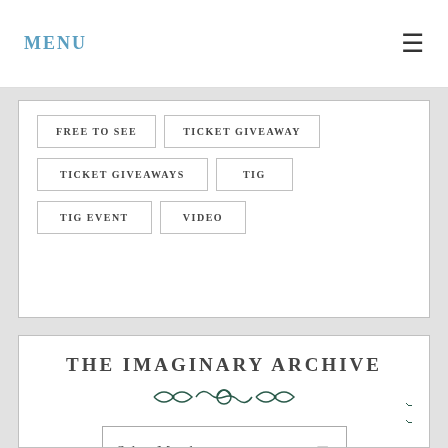MENU
FREE TO SEE
TICKET GIVEAWAY
TICKET GIVEAWAYS
TIG
TIG EVENT
VIDEO
THE IMAGINARY ARCHIVE
Select Month